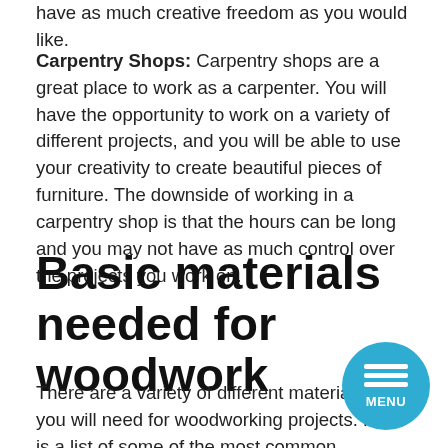have as much creative freedom as you would like.
Carpentry Shops: Carpentry shops are a great place to work as a carpenter. You will have the opportunity to work on a variety of different projects, and you will be able to use your creativity to create beautiful pieces of furniture. The downside of working in a carpentry shop is that the hours can be long and you may not have as much control over the projects you work on.
Basic materials needed for woodwork
There are a variety of different materials that you will need for woodworking projects. Here is a list of some of the most common materials that you will ne...